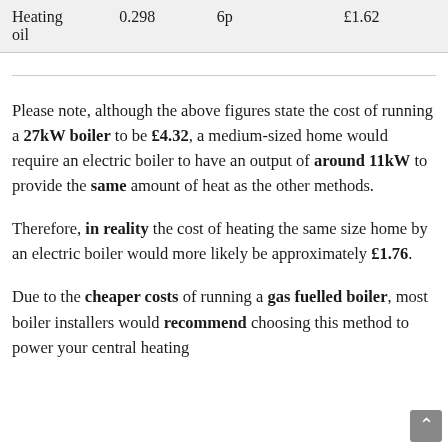| Heating oil | 0.298 | 6p | £1.62 |
Please note, although the above figures state the cost of running a 27kW boiler to be £4.32, a medium-sized home would require an electric boiler to have an output of around 11kW to provide the same amount of heat as the other methods.
Therefore, in reality the cost of heating the same size home by an electric boiler would more likely be approximately £1.76.
Due to the cheaper costs of running a gas fuelled boiler, most boiler installers would recommend choosing this method to power your central heating